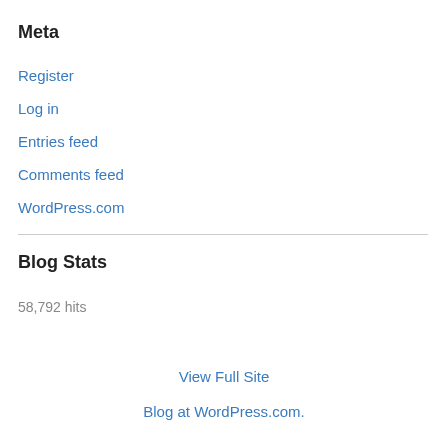Meta
Register
Log in
Entries feed
Comments feed
WordPress.com
Blog Stats
58,792 hits
View Full Site
Blog at WordPress.com.